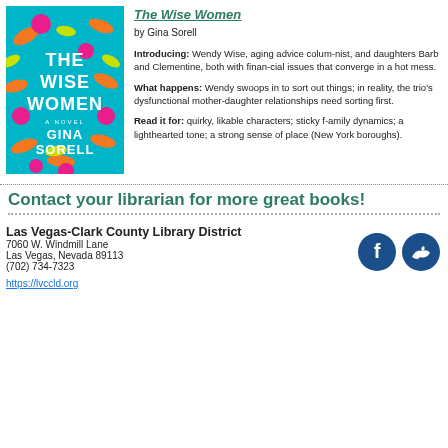[Figure (illustration): Book cover of 'The Wise Women' by Gina Sorell — teal background with colorful leaf and floral illustrations, bold white title text]
The Wise Women
by Gina Sorell
Introducing: Wendy Wise, aging advice columnist, and daughters Barb and Clementine, both with financial issues that converge in a hot mess.
What happens: Wendy swoops in to sort out things, but in reality, the trio's dysfunctional mother-daughter relationships need sorting first.
Read it for: quirky, likable characters; sticky family dynamics; a lighthearted tone; a strong sense of place (New York boroughs).
Contact your librarian for more great books!
Las Vegas-Clark County Library District
7060 W. Windmill Lane
Las Vegas, Nevada 89113
(702) 734-7323
https://lvccld.org